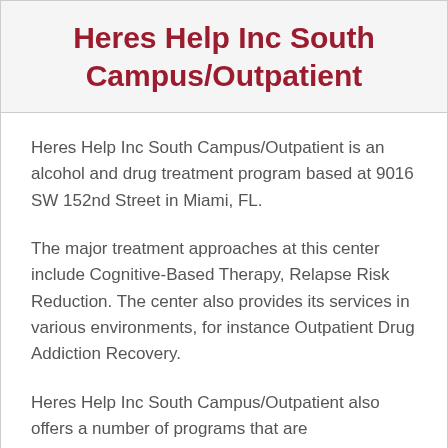Heres Help Inc South Campus/Outpatient
Heres Help Inc South Campus/Outpatient is an alcohol and drug treatment program based at 9016 SW 152nd Street in Miami, FL.
The major treatment approaches at this center include Cognitive-Based Therapy, Relapse Risk Reduction. The center also provides its services in various environments, for instance Outpatient Drug Addiction Recovery.
Heres Help Inc South Campus/Outpatient also offers a number of programs that are